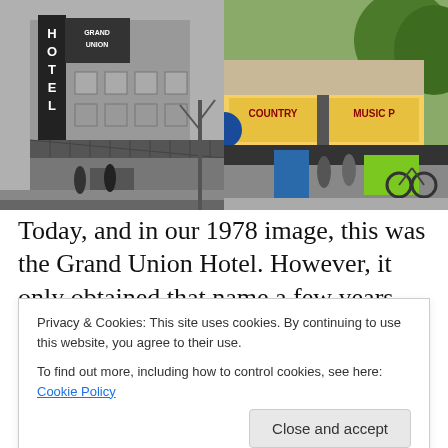[Figure (photo): Two side-by-side photos of the same building: left side is a black-and-white image showing the Grand Union Hotel with a vertical sign reading 'HOTEL' and 'GRAND UNION', circa 1978; right side is a color image showing the same building with a 'COUNTRY MUSIC P...' sign on the facade, with trees, pedestrians and a bicycle visible on the street.]
Today, and in our 1978 image, this was the Grand Union Hotel. However, it only obtained that name a few years
Privacy & Cookies: This site uses cookies. By continuing to use this website, you agree to their use.
To find out more, including how to control cookies, see here: Cookie Policy
The Gong Mong Lim Co was listed as the Initial developer,